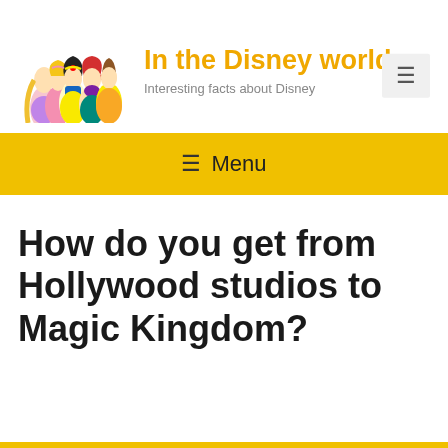[Figure (illustration): Disney Princesses group illustration: Belle, Aurora, Snow White, Ariel and Rapunzel]
In the Disney world
Interesting facts about Disney
≡ Menu
How do you get from Hollywood studios to Magic Kingdom?